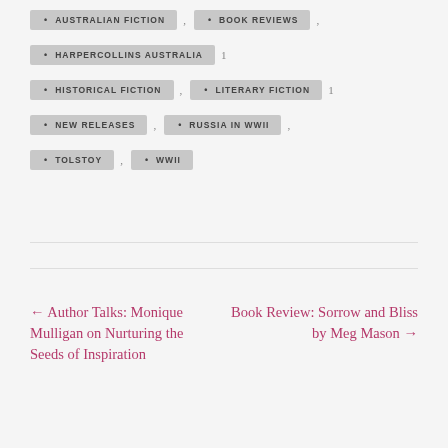AUSTRALIAN FICTION
BOOK REVIEWS
HARPERCOLLINS AUSTRALIA
HISTORICAL FICTION
LITERARY FICTION
NEW RELEASES
RUSSIA IN WWII
TOLSTOY
WWII
← Author Talks: Monique Mulligan on Nurturing the Seeds of Inspiration
Book Review: Sorrow and Bliss by Meg Mason →